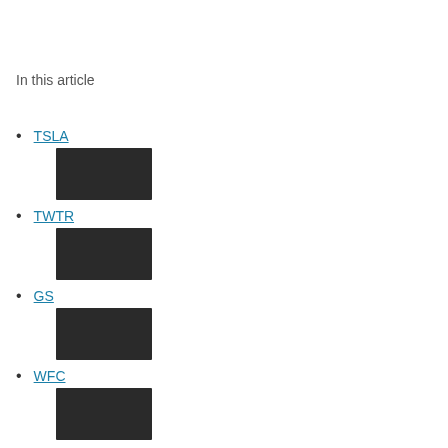In this article
TSLA
[Figure (other): Redacted/blacked-out chart thumbnail for TSLA]
TWTR
[Figure (other): Redacted/blacked-out chart thumbnail for TWTR]
GS
[Figure (other): Redacted/blacked-out chart thumbnail for GS]
WFC
[Figure (other): Redacted/blacked-out chart thumbnail for WFC]
UNH
[Figure (other): Redacted/blacked-out chart thumbnail for UNH]
RAD